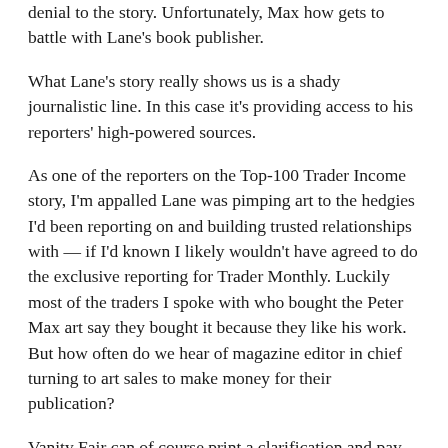denial to the story. Unfortunately, Max how gets to battle with Lane's book publisher.
What Lane's story really shows us is a shady journalistic line. In this case it's providing access to his reporters' high-powered sources.
As one of the reporters on the Top-100 Trader Income story, I'm appalled Lane was pimping art to the hedgies I'd been reporting on and building trusted relationships with — if I'd known I likely wouldn't have agreed to do the exclusive reporting for Trader Monthly. Luckily most of the traders I spoke with who bought the Peter Max art say they bought it because they like his work. But how often do we hear of magazine editor in chief turning to art sales to make money for their publication?
Vanity Fair can of course print a clarification and pay the artist for rights to his work, but that's not all that Lane borrowed for his story in Vanity Fair.